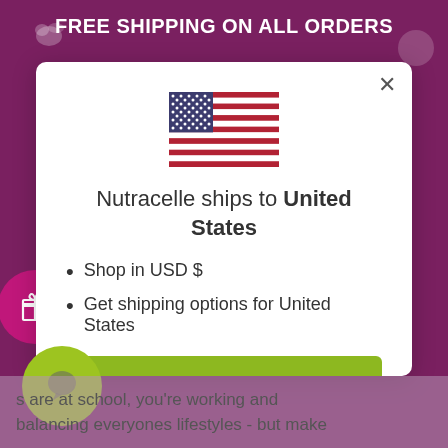FREE SHIPPING ON ALL ORDERS
[Figure (illustration): US flag emoji/illustration centered in modal]
Nutracelle ships to United States
Shop in USD $
Get shipping options for United States
Shop now
Change shipping country
s are at school, you're working and balancing everyones lifestyles - but make